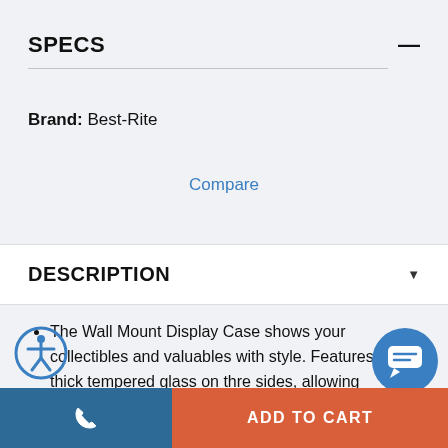SPECS
Brand: Best-Rite
Compare
DESCRIPTION
The Wall Mount Display Case shows your collectibles and valuables with style. Features .19" thick tempered glass on three sides, allowing maximum viewability. Door